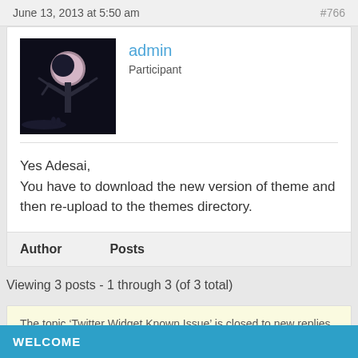June 13, 2013 at 5:50 am  #766
admin
Participant
Yes Adesai,
You have to download the new version of theme and then re-upload to the themes directory.
| Author | Posts |
| --- | --- |
Viewing 3 posts - 1 through 3 (of 3 total)
The topic ‘Twitter Widget Known Issue’ is closed to new replies.
WELCOME